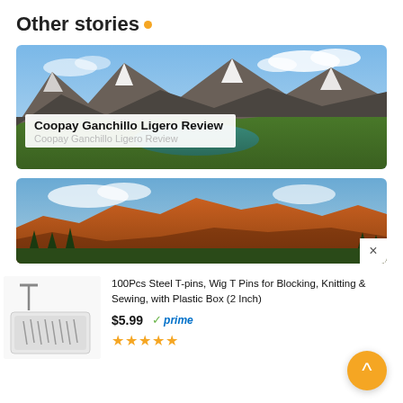Other stories.
[Figure (photo): Alpine mountain landscape with snow-capped peaks, green slopes, and a teal glacial lake in the valley below, with blue sky and clouds]
Coopay Ganchillo Ligero Review
Coopay Ganchillo Ligero Review
[Figure (photo): Mountain landscape with orange-red rocky ridgeline under blue sky with scattered clouds and forested lower slopes]
[Figure (photo): Product photo of 100Pcs Steel T-pins in a plastic box with individual T-pin shown above]
100Pcs Steel T-pins, Wig T Pins for Blocking, Knitting & Sewing, with Plastic Box (2 Inch)
$5.99 ✓prime ★★★★★